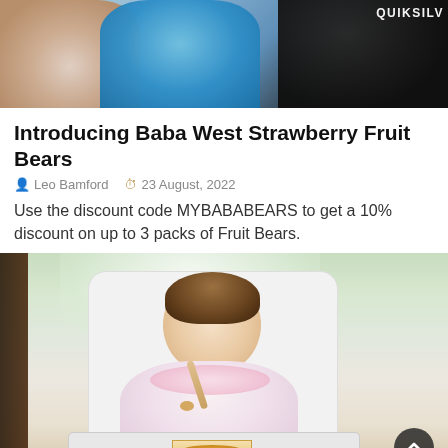[Figure (photo): Top photo showing people outdoors, one person wearing a Quiksilver shirt]
Introducing Baba West Strawberry Fruit Bears
Leo Bamford   23 August, 2022
Use the discount code MYBABABEARS to get a 10% discount on up to 3 packs of Fruit Bears.
[Figure (photo): Baby sitting in a white highchair eating food with a spoon from an orange bowl]